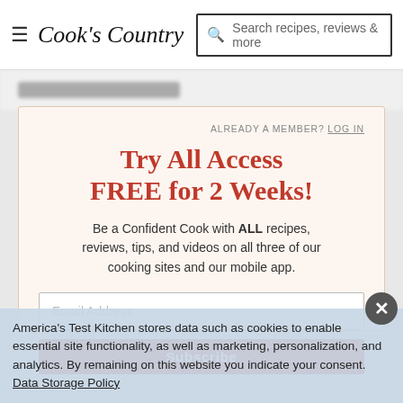Cook's Country — Search recipes, reviews & more
ALREADY A MEMBER? LOG IN
Try All Access FREE for 2 Weeks!
Be a Confident Cook with ALL recipes, reviews, tips, and videos on all three of our cooking sites and our mobile app.
Email Address
America's Test Kitchen stores data such as cookies to enable essential site functionality, as well as marketing, personalization, and analytics. By remaining on this website you indicate your consent. Data Storage Policy